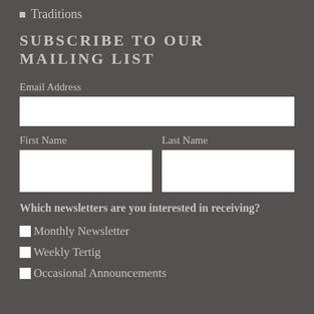Traditions
SUBSCRIBE TO OUR MAILING LIST
Email Address
First Name
Last Name
Which newsletters are you interested in receiving?
Monthly Newsletter
Weekly Tertig
Occasional Announcements